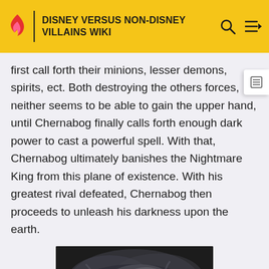DISNEY VERSUS NON-DISNEY VILLAINS WIKI
first call forth their minions, lesser demons, spirits, ect. Both destroying the others forces, neither seems to be able to gain the upper hand, until Chernabog finally calls forth enough dark power to cast a powerful spell. With that, Chernabog ultimately banishes the Nightmare King from this plane of existence. With his greatest rival defeated, Chernabog then proceeds to unleash his darkness upon the earth.
[Figure (photo): Dark fantasy scene showing a large horned creature (Chernabog) with wings amid dark swirling clouds and smoke in black and white/greyscale tones.]